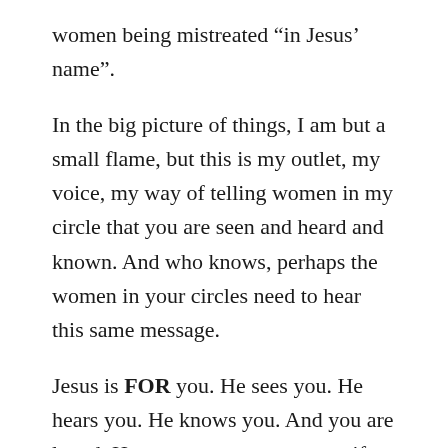women being mistreated “in Jesus’ name”.
In the big picture of things, I am but a small flame, but this is my outlet, my voice, my way of telling women in my circle that you are seen and heard and known. And who knows, perhaps the women in your circles need to hear this same message.
Jesus is FOR you. He sees you. He hears you. He knows you. And you are loved. He wants you to use your gifts and talents. It grieves him to see those who are meant to be trusted use their power to abuse and use, downplay and destroy.
Women were meant to walk alongside, not